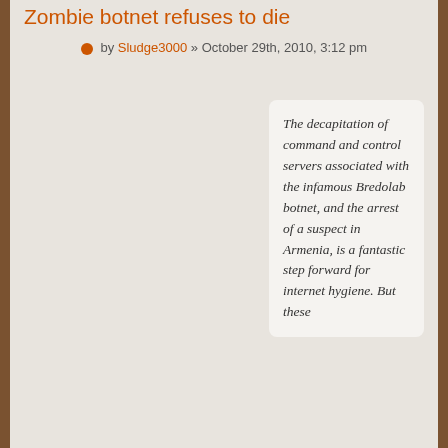Zombie botnet refuses to die
by Sludge3000 » October 29th, 2010, 3:12 pm
The decapitation of command and control servers associated with the infamous Bredolab botnet, and the arrest of a suspect in Armenia, is a fantastic step forward for internet hygiene. But these